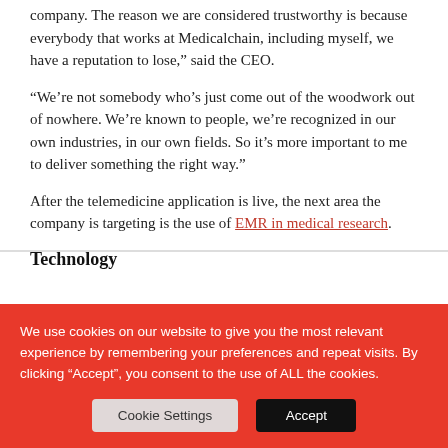company. The reason we are considered trustworthy is because everybody that works at Medicalchain, including myself, we have a reputation to lose,” said the CEO.
“We’re not somebody who’s just come out of the woodwork out of nowhere. We’re known to people, we’re recognized in our own industries, in our own fields. So it’s more important to me to deliver something the right way.”
After the telemedicine application is live, the next area the company is targeting is the use of EMR in medical research.
Technology
We use cookies on our website to give you the most relevant experience by remembering your preferences and repeat visits. By clicking “Accept”, you consent to the use of ALL the cookies.